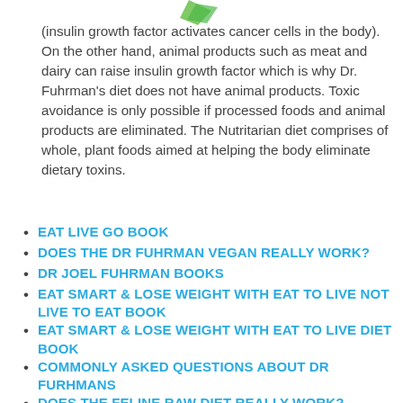[Figure (logo): Green leaf/plant logo at top center]
(insulin growth factor activates cancer cells in the body). On the other hand, animal products such as meat and dairy can raise insulin growth factor which is why Dr. Fuhrman’s diet does not have animal products. Toxic avoidance is only possible if processed foods and animal products are eliminated. The Nutritarian diet comprises of whole, plant foods aimed at helping the body eliminate dietary toxins.
EAT LIVE GO BOOK
DOES THE DR FUHRMAN VEGAN REALLY WORK?
DR JOEL FUHRMAN BOOKS
EAT SMART & LOSE WEIGHT WITH EAT TO LIVE NOT LIVE TO EAT BOOK
EAT SMART & LOSE WEIGHT WITH EAT TO LIVE DIET BOOK
COMMONLY ASKED QUESTIONS ABOUT DR FURHMANS
DOES THE FELINE RAW DIET REALLY WORK?